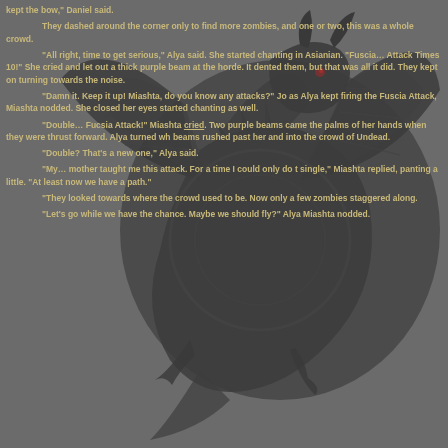kept the bow," Daniel said.
They dashed around the corner only to find more zombies, and one or two, this was a whole crowd.
“All right, time to get serious,” Alya said. She started chanting in Asianian. “Fuscia… Attack Times 10!” She cried and let out a thick purple beam at the horde. It dented them, but that was all it did. They kept on turning towards the noise.
“Damn it. Keep it up! Miashta, do you know any attacks?” Jo as Alya kept firing the Fuscia Attack, Miashta nodded. She closed her eyes started chanting as well.
“Double… Fucsia Attack!” Miashta cried. Two purple beams came the palms of her hands when they were thrust forward. Alya turned wh beams rushed past her and into the crowd of Undead.
“Double? That’s a new one,” Alya said.
“My… mother taught me this attack. For a time I could only do t single,” Miashta replied, panting a little. “At least now we have a path.”
“They looked towards where the crowd used to be. Now only a few zombies staggered along.
“Let’s go while we have the chance. Maybe we should fly?” Alya Miashta nodded.